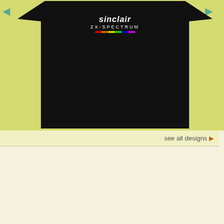[Figure (photo): Sinclair ZX-Spectrum t-shirt on a yellow-green background with navigation arrows]
see all designs ▶
| Specification | Value |
| --- | --- |
| ROM | 32 kb |
| TEXT MODES | Mode
Mode |
| GRAPHIC MODES | Mode
Mode
32 sp |
| COLORS | 16 |
| SOUND | Gene
3 cha |
| I/O PORTS | 2 joy
Cent |
| NUMBER OF GAMES | MSX |
| POWER SUPPLY | Exte |
| PERIPHERALS | SFG-
and m |
| PRICE | 64.80
516 = |
Please buy a t-sh